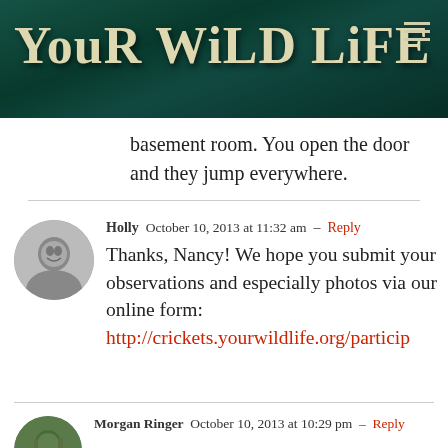Your Wild Life
basement room. You open the door and they jump everywhere.
Holly  October 10, 2013 at 11:32 am  -  Reply
Thanks, Nancy! We hope you submit your observations and especially photos via our online form:
http://crickets.yourwildlife.org/particip
Morgan Ringer  October 10, 2013 at 10:29 pm  -  Reply